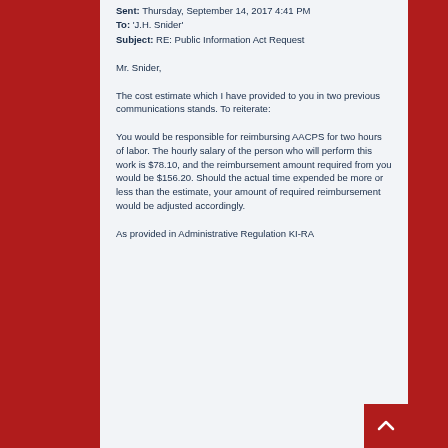Sent: Thursday, September 14, 2017 4:41 PM
To: 'J.H. Snider'
Subject: RE: Public Information Act Request
Mr. Snider,
The cost estimate which I have provided to you in two previous communications stands. To reiterate:
You would be responsible for reimbursing AACPS for two hours of labor. The hourly salary of the person who will perform this work is $78.10, and the reimbursement amount required from you would be $156.20. Should the actual time expended be more or less than the estimate, your amount of required reimbursement would be adjusted accordingly.
As provided in Administrative Regulation KI-RA